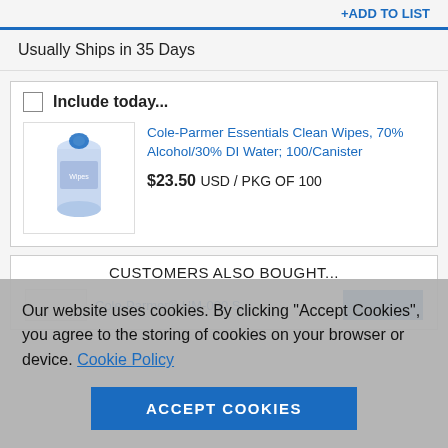+ADD TO LIST
Usually Ships in 35 Days
Include today...
Cole-Parmer Essentials Clean Wipes, 70% Alcohol/30% DI Water; 100/Canister
$23.50 USD / PKG OF 100
CUSTOMERS ALSO BOUGHT...
Cole-Parmer® HM-000 S...
Our website uses cookies. By clicking “Accept Cookies”, you agree to the storing of cookies on your browser or device. Cookie Policy
ACCEPT COOKIES